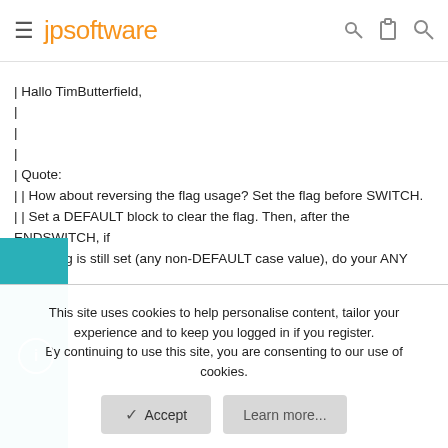jpsoftware
| Hallo TimButterfield,
|
|
|
| Quote:
| | How about reversing the flag usage? Set the flag before SWITCH.
| | Set a DEFAULT block to clear the flag. Then, after the ENDSWITCH, if
| | the flag is still set (any non-DEFAULT case value), do your ANY block
| | code.
|
This site uses cookies to help personalise content, tailor your experience and to keep you logged in if you register.
By continuing to use this site, you are consenting to our use of cookies.